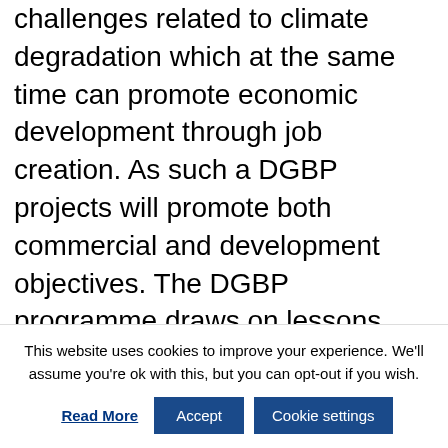challenges related to climate degradation which at the same time can promote economic development through job creation. As such a DGBP projects will promote both commercial and development objectives. The DGBP programme draws on lessons learnt from DMDP, where a total of 36 projects have been approved of which 33 is still under implementation, creating jobs and income opportunities in Danida's
This website uses cookies to improve your experience. We'll assume you're ok with this, but you can opt-out if you wish.